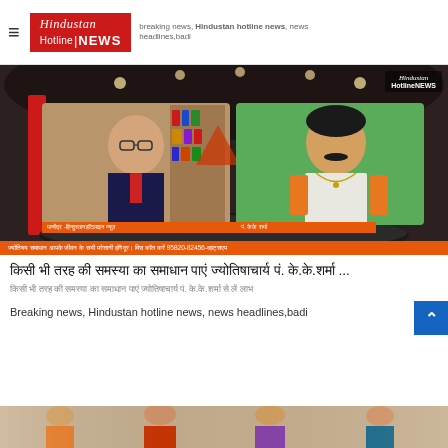Hindustan HotlineNEWS
[Figure (screenshot): News broadcast screenshot showing two people on split screen in a TV studio setting. Left person: man with glasses in dark suit. Right person: man in traditional Indian attire. Orange lower-third name tags. Bottom ticker in orange with Hindi text and phone number 95820-82456. Hindustan HotlineNEWS watermark top right.]
किसी भी तरह की समस्या का समाधान पाएं ज्योतिषाचार्य पं. के.के.शर्मा ...
किसी भी तरह की समस्या का समाधान पाएं ज्योतिषाचार्य पं. के.के.शर्मा से लें लाभ
Breaking news, Hindustan hotline news, news headlines,badi
[Figure (photo): Partial bottom image strip showing figures, appears to be another news story image]